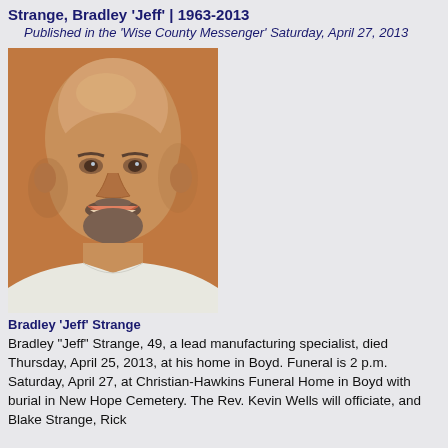Strange, Bradley 'Jeff' | 1963-2013
Published in the 'Wise County Messenger' Saturday, April 27, 2013
[Figure (photo): Portrait photo of Bradley 'Jeff' Strange, a middle-aged bald man smiling, wearing a white shirt, with an orange/warm background.]
Bradley 'Jeff' Strange
Bradley "Jeff" Strange, 49, a lead manufacturing specialist, died Thursday, April 25, 2013, at his home in Boyd. Funeral is 2 p.m. Saturday, April 27, at Christian-Hawkins Funeral Home in Boyd with burial in New Hope Cemetery. The Rev. Kevin Wells will officiate, and Blake Strange, Rick